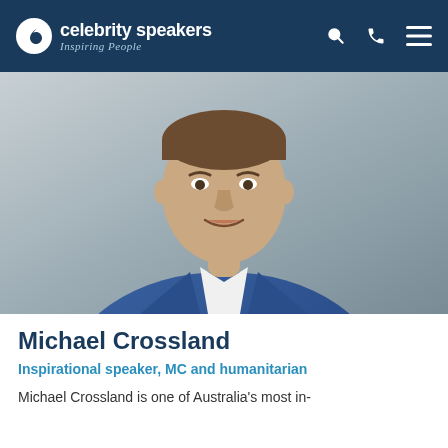celebrity speakers — Inspiring People
[Figure (photo): Professional headshot of Michael Crossland, a man in a blue blazer and white shirt, smiling, against a grey background]
Michael Crossland
Inspirational speaker, MC and humanitarian
Michael Crossland is one of Australia's most in-